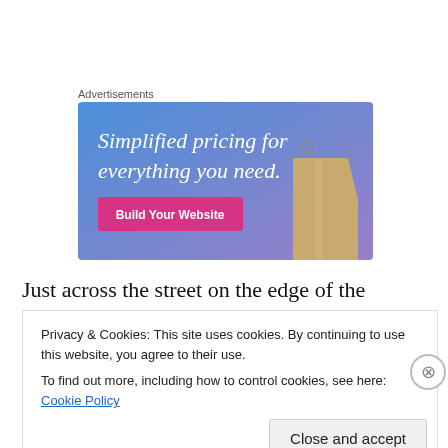Advertisements
[Figure (illustration): Advertisement banner with blue-to-purple gradient background. White serif text reads 'Simplified pricing for everything you need.' A pink/magenta button labeled 'Build Your Website' is shown, with a tan price tag hanging on the right side of the image.]
Just across the street on the edge of the Commons stands
Privacy & Cookies: This site uses cookies. By continuing to use this website, you agree to their use.
To find out more, including how to control cookies, see here: Cookie Policy
Close and accept